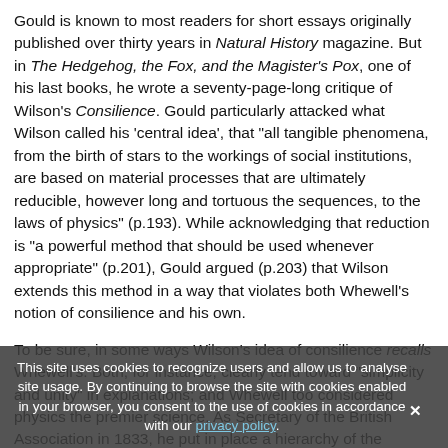Gould is known to most readers for short essays originally published over thirty years in Natural History magazine. But in The Hedgehog, the Fox, and the Magister's Pox, one of his last books, he wrote a seventy-page-long critique of Wilson's Consilience. Gould particularly attacked what Wilson called his 'central idea', that "all tangible phenomena, from the birth of stars to the workings of social institutions, are based on material processes that are ultimately reducible, however long and tortuous the sequences, to the laws of physics" (p.193). While acknowledging that reduction is "a powerful method that should be used whenever appropriate" (p.201), Gould argued (p.203) that Wilson extends this method in a way that violates both Whewell's notion of consilience and his own.
To be sure, in some ways Wilson's idea of consilience recalls Whewell's. Both, for instance, clearly tend toward "simplicity and unity" in explanations; and Whewell too considered physics the premier science. As Secretary of the British Association in 1833, he put in place a hierarchy of the sciences that to some extent still holds sway, with physics and astronomy on the top rung of the ladder, and then relatively primitive fields like statistics on the bottom rung. Whewell was not a reductionist, though; he believed that all sciences should aspire to be as mathematical and Newtonian as possible because this represents the pinnacle of scientific achievement, not its lowest
This site uses cookies to recognize users and allow us to analyse site usage. By continuing to browse the site with cookies enabled in your browser, you consent to the use of cookies in accordance with our privacy policy.